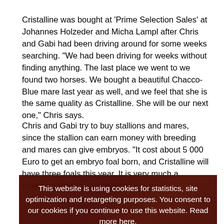Cristalline was bought at 'Prime Selection Sales' at Johannes Holzeder and Micha Lampl after Chris and Gabi had been driving around for some weeks searching. "We had been driving for weeks without finding anything. The last place we went to we found two horses. We bought a beautiful Chacco-Blue mare last year as well, and we feel that she is the same quality as Cristalline. She will be our next one," Chris says.
Chris and Gabi try to buy stallions and mares, since the stallion can earn money with breeding and mares can give embryos. "It cost about 5 000 Euro to get an embryo foal born, and Cristalline will have three foals this year. It is very much a breeding program and a riding program.
[Figure (photo): Dark reddish-brown background photo showing a horse and rider, partially obscured by a cookie consent overlay banner]
This website is using cookies for statistics, site optimization and retargeting purposes. You consent to our cookies if you continue to use this website. Read more here.
Accept